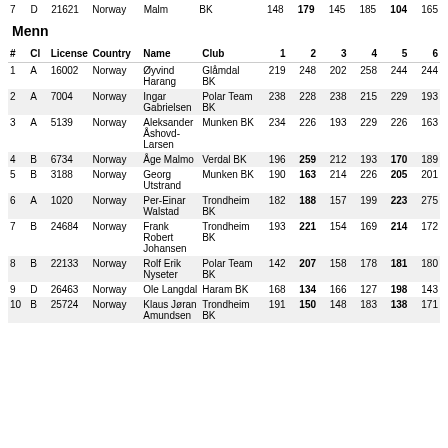| # | Cl | License | Country | Name | Club | 1 | 2 | 3 | 4 | 5 | 6 |
| --- | --- | --- | --- | --- | --- | --- | --- | --- | --- | --- | --- |
| 7 | D | 21621 | Norway | Malm | BK | 148 | 179 | 145 | 185 | 104 | 165 |
Menn
| # | Cl | License | Country | Name | Club | 1 | 2 | 3 | 4 | 5 | 6 |
| --- | --- | --- | --- | --- | --- | --- | --- | --- | --- | --- | --- |
| 1 | A | 16002 | Norway | Øyvind Harang | Glåmdal BK | 219 | 248 | 202 | 258 | 244 | 244 |
| 2 | A | 7004 | Norway | Ingar Gabrielsen | Polar Team BK | 238 | 228 | 238 | 215 | 229 | 193 |
| 3 | A | 5139 | Norway | Aleksander Åshovd-Larsen | Munken BK | 234 | 226 | 193 | 229 | 226 | 163 |
| 4 | B | 6734 | Norway | Åge Malmo | Verdal BK | 196 | 259 | 212 | 193 | 170 | 189 |
| 5 | B | 3188 | Norway | Georg Utstrand | Munken BK | 190 | 163 | 214 | 226 | 205 | 201 |
| 6 | A | 1020 | Norway | Per-Einar Walstad | Trondheim BK | 182 | 188 | 157 | 199 | 223 | 275 |
| 7 | B | 24684 | Norway | Frank Robert Johansen | Trondheim BK | 193 | 221 | 154 | 169 | 214 | 172 |
| 8 | B | 22133 | Norway | Rolf Erik Nyseter | Polar Team BK | 142 | 207 | 158 | 178 | 181 | 180 |
| 9 | D | 26463 | Norway | Ole Langdal | Haram BK | 168 | 134 | 166 | 127 | 198 | 143 |
| 10 | B | 25724 | Norway | Klaus Jøran Amundsen | Trondheim BK | 191 | 150 | 148 | 183 | 138 | 171 |